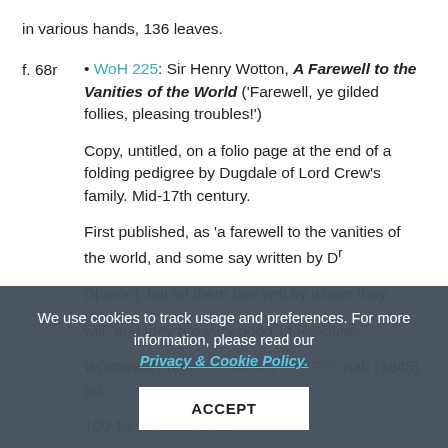in various hands, 136 leaves.
f. 68r • WoH 225: Sir Henry Wotton, A Farewell to the Vanities of the World ('Farewell, ye gilded follies, pleasing troubles!')
Copy, untitled, on a folio page at the end of a folding pedigree by Dugdale of Lord Crew's family. Mid-17th century.
First published, as 'a farewell to the vanities of the world, and some say written by Dr D[onne], but let them bee writ by whom they will, and they are very good' in Reliquiae Wottoniae (London: Maxey and Robinson [1645]), pp. 100-13.; in Donne, ed Herbert J. C. Grierson, 2 vols (Oxford, 1912), II, 466-7.
We use cookies to track usage and preferences. For more information, please read our Privacy & Cookie Policy.